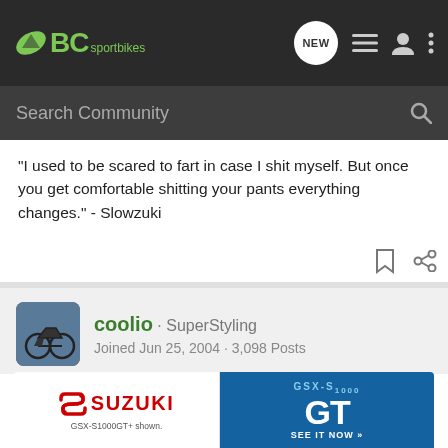BC sportbikes - Search Community
"I used to be scared to fart in case I shit myself. But once you get comfortable shitting your pants everything changes." - Slowzuki
coolio · SuperStyling
Joined Jun 25, 2004 · 3,098 Posts
#4 · Sep 24, 2006
There, it should make sense now!!!!
[Figure (photo): Suzuki GSX-S1000GT advertisement banner with motorcycle image and 'SEE IT NOW' call to action]